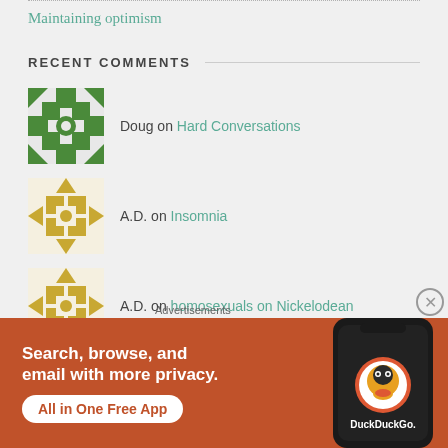Maintaining optimism
RECENT COMMENTS
Doug on Hard Conversations
A.D. on Insomnia
A.D. on homosexuals on Nickelodean
Lucas Jones on Silent witness
Advertisements
[Figure (screenshot): DuckDuckGo advertisement banner: Search, browse, and email with more privacy. All in One Free App.]